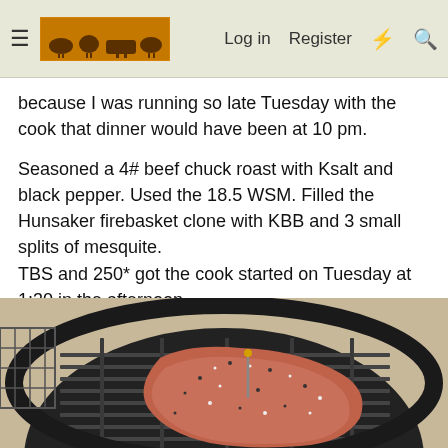Log in  Register
because I was running so late Tuesday with the cook that dinner would have been at 10 pm.
Seasoned a 4# beef chuck roast with Ksalt and black pepper. Used the 18.5 WSM. Filled the Hunsaker firebasket clone with KBB and 3 small splits of mesquite.
TBS and 250* got the cook started on Tuesday at 1:30 in the afternoon.
[Figure (photo): A seasoned beef chuck roast sitting on the grill grate of a WSM smoker with a temperature probe inserted, viewed from above. The meat is heavily coated with salt and pepper.]